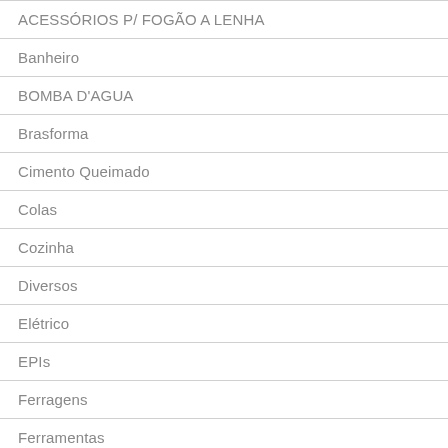ACESSÓRIOS P/ FOGÃO A LENHA
Banheiro
BOMBA D'AGUA
Brasforma
Cimento Queimado
Colas
Cozinha
Diversos
Elétrico
EPIs
Ferragens
Ferramentas
Ferramentas Elétricas